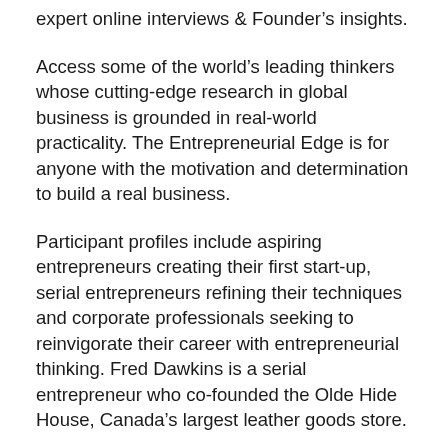expert online interviews & Founder's insights.
Access some of the world's leading thinkers whose cutting-edge research in global business is grounded in real-world practicality. The Entrepreneurial Edge is for anyone with the motivation and determination to build a real business.
Participant profiles include aspiring entrepreneurs creating their first start-up, serial entrepreneurs refining their techniques and corporate professionals seeking to reinvigorate their career with entrepreneurial thinking. Fred Dawkins is a serial entrepreneur who co-founded the Olde Hide House, Canada's largest leather goods store.
He is a partner in the Creative Destruction Lab at the Rotman School of Management at the University of Toronto. The first book in this informative series, Everyday Entrepreneur, was published in He lives in Guelph, Ontario. It, along with the accompanying books in the series (The Entrepreneur's Edge: Finding the Money, The Entrepreneur Manager: The Business Man's